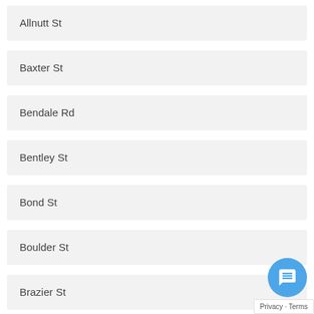Allnutt St
Baxter St
Bendale Rd
Bentley St
Bond St
Boulder St
Brazier St